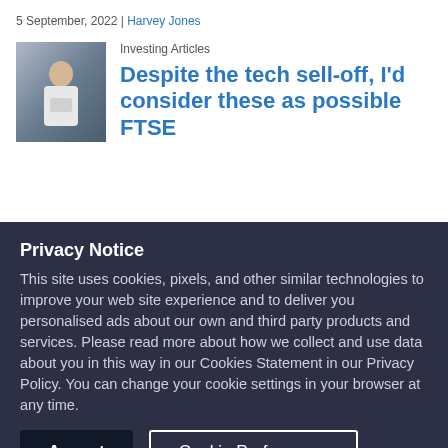5 September, 2022 | Harvey Jones
Investing Articles
Despite the tech sell-off, I'd consider these as possible FTSE
[Figure (photo): Thumbnail photo of a woman reading a document in an office setting]
Privacy Notice
This site uses cookies, pixels, and other similar technologies to improve your web site experience and to deliver you personalised ads about our own and third party products and services. Please read more about how we collect and use data about you in this way in our Cookies Statement in our Privacy Policy. You can change your cookie settings in your browser at any time.
Accept
Cookie Preferences